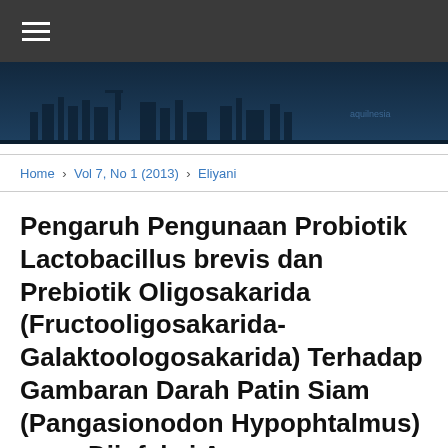☰
[Figure (illustration): Dark blue banner image with silhouette of buildings/cityscape or aquaculture facility against a dark navy background]
Home > Vol 7, No 1 (2013) > Eliyani
Pengaruh Pengunaan Probiotik Lactobacillus brevis dan Prebiotik Oligosakarida (Fructooligosakarida-Galaktoologosakarida) Terhadap Gambaran Darah Patin Siam (Pangasionodon Hypophtalmus) yang Diinfeksi Aeromonas